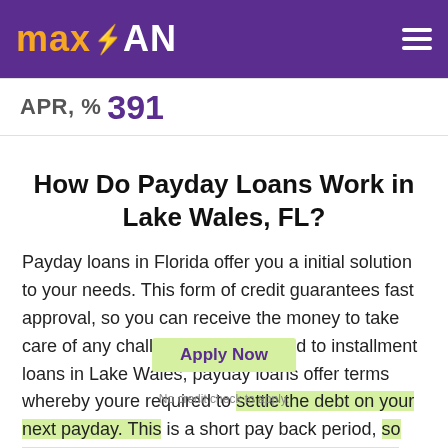maxLOAN
APR, % 391
How Do Payday Loans Work in Lake Wales, FL?
Payday loans in Florida offer you a initial solution to your needs. This form of credit guarantees fast approval, so you can receive the money to take care of any challenges. As opposed to installment loans in Lake Wales, payday loans offer terms whereby youre required to settle the debt on your next payday. This is a short pay back period, so you should assess your economic ability before distributing your application. Failure to settle on the agreed day will attract fees and penalties,